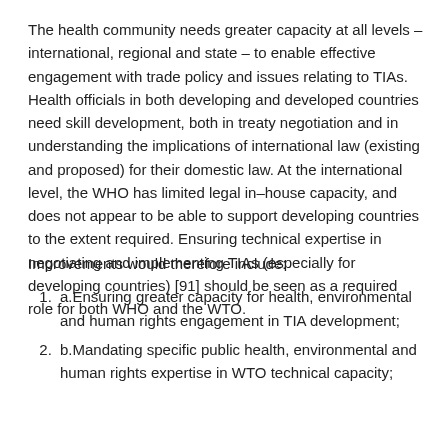The health community needs greater capacity at all levels – international, regional and state – to enable effective engagement with trade policy and issues relating to TIAs. Health officials in both developing and developed countries need skill development, both in treaty negotiation and in understanding the implications of international law (existing and proposed) for their domestic law. At the international level, the WHO has limited legal in-house capacity, and does not appear to be able to support developing countries to the extent required. Ensuring technical expertise in negotiating and implementing TIAs (especially for developing countries) [91] should be seen as a required role for both WHO and the WTO.
Improvements would therefore include:
a.Ensuring greater capacity for health, environmental and human rights engagement in TIA development;
b.Mandating specific public health, environmental and human rights expertise in WTO technical capacity;